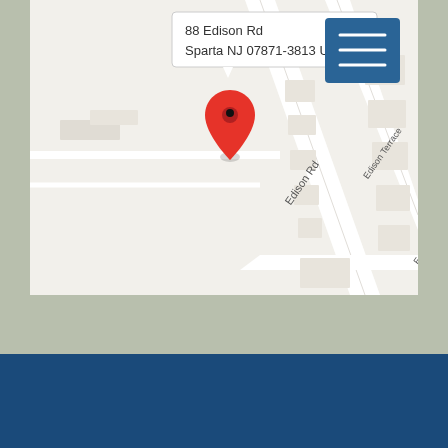[Figure (map): Google Maps screenshot showing a pin at 88 Edison Rd, Sparta NJ 07871-3813 US. The map shows Edison Rd running diagonally, with Edison Terrace parallel to it, and city blocks with building footprints visible. A red location pin marks the address. An address tooltip reads '88 Edison Rd / Sparta NJ 07871-3813 US'. A blue menu/hamburger button is in the top-right corner of the map.]